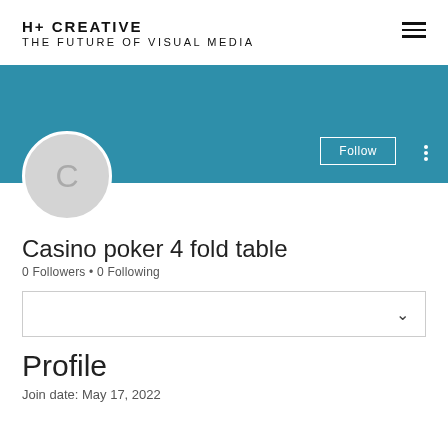H+ CREATIVE
THE FUTURE OF VISUAL MEDIA
[Figure (screenshot): Teal/blue banner background with a Follow button and three-dot menu at bottom right, and a circular avatar placeholder with letter C overlapping the bottom edge]
Casino poker 4 fold table
0 Followers • 0 Following
[Figure (other): Dropdown selector box with a chevron/down-arrow icon on the right]
Profile
Join date: May 17, 2022